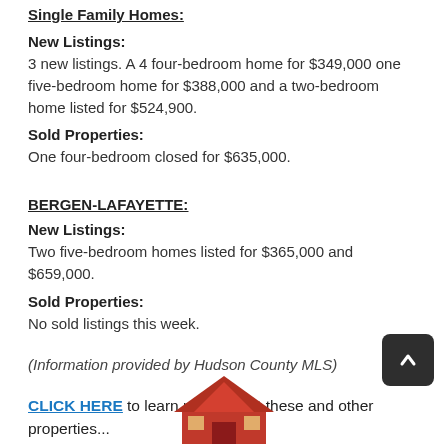Single Family Homes:
New Listings:
3 new listings. A 4 four-bedroom home for $349,000 one five-bedroom home for $388,000 and a two-bedroom home listed for $524,900.
Sold Properties:
One four-bedroom closed for $635,000.
BERGEN-LAFAYETTE:
New Listings:
Two five-bedroom homes listed for $365,000 and $659,000.
Sold Properties:
No sold listings this week.
(Information provided by Hudson County MLS)
CLICK HERE to learn more about these and other properties...
[Figure (illustration): Red house/roof illustration at bottom center of page]